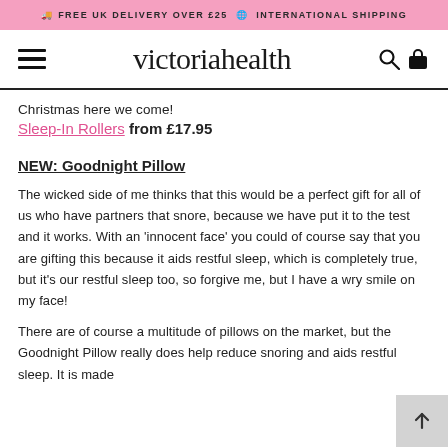FREE UK DELIVERY OVER £25  INTERNATIONAL SHIPPING
[Figure (logo): Victoria Health website navigation bar with hamburger menu, victoriahealth logo, search and bag icons]
Christmas here we come!
Sleep-In Rollers from £17.95
NEW: Goodnight Pillow
The wicked side of me thinks that this would be a perfect gift for all of us who have partners that snore, because we have put it to the test and it works. With an 'innocent face' you could of course say that you are gifting this because it aids restful sleep, which is completely true, but it's our restful sleep too, so forgive me, but I have a wry smile on my face!
There are of course a multitude of pillows on the market, but the Goodnight Pillow really does help reduce snoring and aids restful sleep. It is made